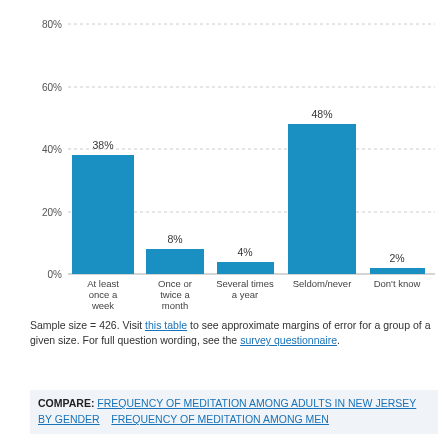[Figure (bar-chart): Frequency of meditation]
Sample size = 426. Visit this table to see approximate margins of error for a group of a given size. For full question wording, see the survey questionnaire.
COMPARE: FREQUENCY OF MEDITATION AMONG ADULTS IN NEW JERSEY BY GENDER   FREQUENCY OF MEDITATION AMONG MEN